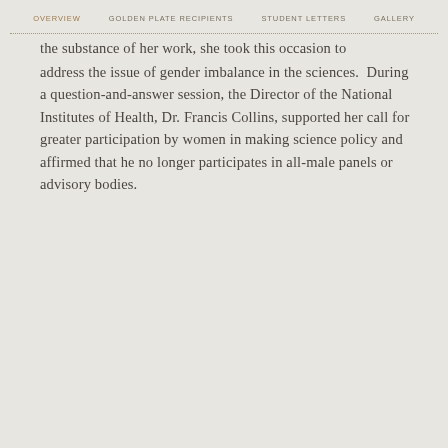OVERVIEW | GOLDEN PLATE RECIPIENTS | STUDENT LETTERS | GALLERY
the substance of her work, she took this occasion to address the issue of gender imbalance in the sciences. During a question-and-answer session, the Director of the National Institutes of Health, Dr. Francis Collins, supported her call for greater participation by women in making science policy and affirmed that he no longer participates in all-male panels or advisory bodies.